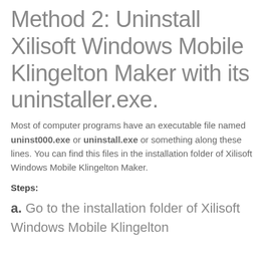Method 2: Uninstall Xilisoft Windows Mobile Klingelton Maker with its uninstaller.exe.
Most of computer programs have an executable file named uninst000.exe or uninstall.exe or something along these lines. You can find this files in the installation folder of Xilisoft Windows Mobile Klingelton Maker.
Steps:
a. Go to the installation folder of Xilisoft Windows Mobile Klingelton